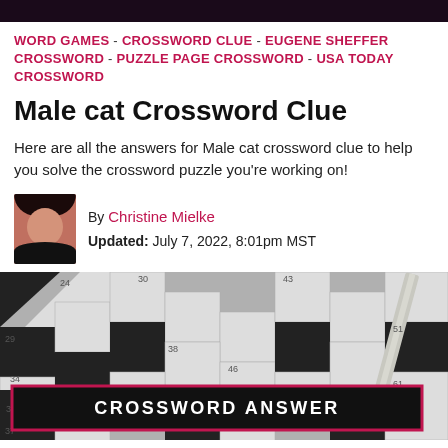WORD GAMES - CROSSWORD CLUE - EUGENE SHEFFER CROSSWORD - PUZZLE PAGE CROSSWORD - USA TODAY CROSSWORD
Male cat Crossword Clue
Here are all the answers for Male cat crossword clue to help you solve the crossword puzzle you're working on!
By Christine Mielke
Updated: July 7, 2022, 8:01pm MST
[Figure (photo): Crossword puzzle grid with numbered squares in black and white, with a pen visible. An overlay banner reads CROSSWORD ANSWER in white bold text on a dark background with pink border.]